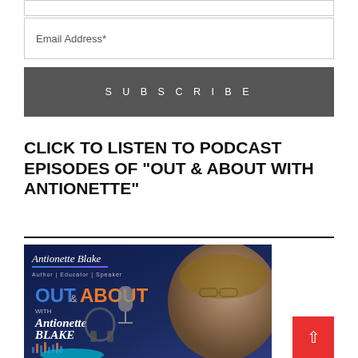Email Address*
SUBSCRIBE
CLICK TO LISTEN TO PODCAST EPISODES OF "OUT & ABOUT WITH ANTIONETTE"
[Figure (photo): Podcast promotional banner for 'Out & About with Antionette Blake' showing a woman with glasses, a microphone, and the podcast logo on a dark blue background.]